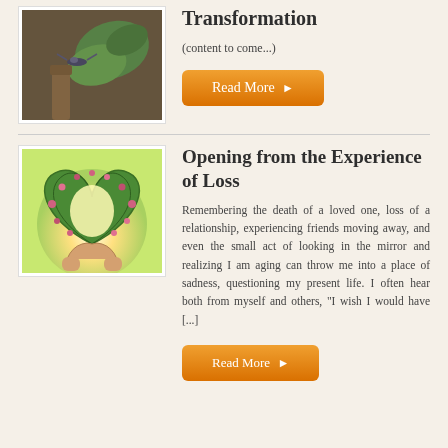Transformation
(content to come...)
[Figure (photo): A dragonfly or bird near green leaves and wooden surface]
Read More
Opening from the Experience of Loss
[Figure (photo): A heart-shaped wreath of flowers and greenery held up with sun shining through]
Remembering the death of a loved one, loss of a relationship, experiencing friends moving away, and even the small act of looking in the mirror and realizing I am aging can throw me into a place of sadness, questioning my present life. I often hear both from myself and others, “I wish I would have [...]
Read More